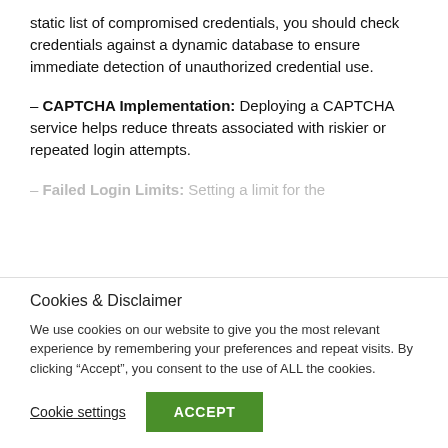static list of compromised credentials, you should check credentials against a dynamic database to ensure immediate detection of unauthorized credential use.
– CAPTCHA Implementation: Deploying a CAPTCHA service helps reduce threats associated with riskier or repeated login attempts.
– Failed Login Limits: Setting a limit for the
Cookies & Disclaimer
We use cookies on our website to give you the most relevant experience by remembering your preferences and repeat visits. By clicking “Accept”, you consent to the use of ALL the cookies.
Cookie settings   ACCEPT